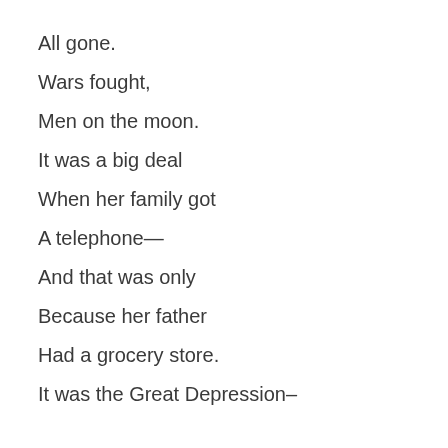All gone.
Wars fought,
Men on the moon.
It was a big deal
When her family got
A telephone—
And that was only
Because her father
Had a grocery store.
It was the Great Depression–